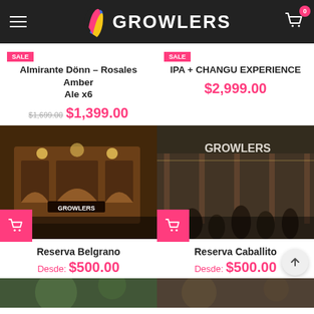GROWLERS – navigation header with menu, logo, and cart (0 items)
Almirante Dönn – Rosales Amber Ale x6
$1,699.00  $1,399.00
IPA + CHANGU EXPERIENCE
$2,999.00
[Figure (photo): Growlers bar exterior at night, ornate building with warm lights – Belgrano location]
Reserva Belgrano
Desde: $500.00
[Figure (photo): Growlers bar exterior at night, industrial wood structure with crowd – Caballito location]
Reserva Caballito
Desde: $500.00
[Figure (photo): Partially visible product image at bottom left]
[Figure (photo): Partially visible product image at bottom right]